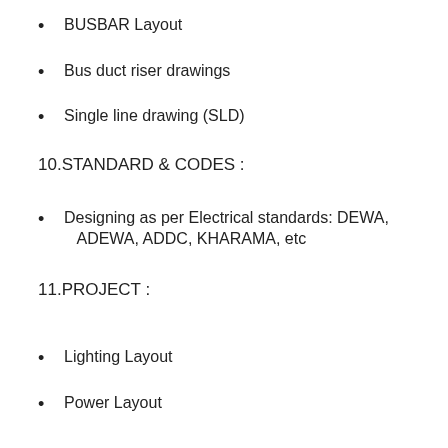BUSBAR Layout
Bus duct riser drawings
Single line drawing (SLD)
10.STANDARD & CODES :
Designing as per Electrical standards: DEWA, ADEWA, ADDC, KHARAMA, etc
11.PROJECT :
Lighting Layout
Power Layout